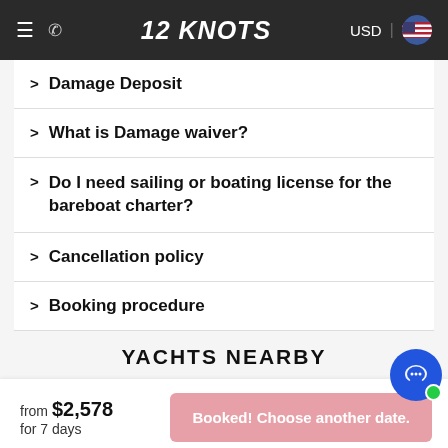12 KNOTS — USD
Damage Deposit
What is Damage waiver?
Do I need sailing or boating license for the bareboat charter?
Cancellation policy
Booking procedure
YACHTS NEARBY
from $2,578 for 7 days
Booked! Choose another date.